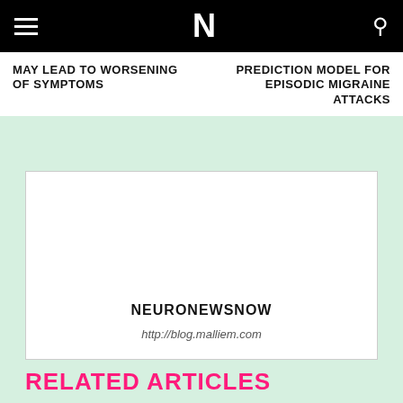N
MAY LEAD TO WORSENING OF SYMPTOMS
PREDICTION MODEL FOR EPISODIC MIGRAINE ATTACKS
[Figure (other): Advertisement box with site name NEURONEWSNOW and URL http://blog.malliem.com]
RELATED ARTICLES